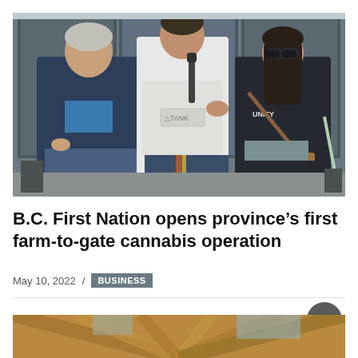[Figure (photo): Three people standing in front of a store with large glass windows. Left: older man in dark blue jacket and jeans. Center: man in white hoodie speaking into a microphone. Right: woman in dark jacket with sunglasses and a shoulder bag.]
B.C. First Nation opens province's first farm-to-gate cannabis operation
May 10, 2022  /  BUSINESS
[Figure (photo): Partial view of a wooden beam/timber frame structure interior, with warm orange-brown tones and blue sky visible through the structure.]